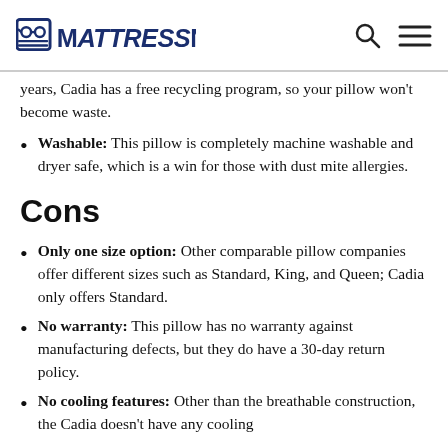MattressNerd
years, Cadia has a free recycling program, so your pillow won't become waste.
Washable: This pillow is completely machine washable and dryer safe, which is a win for those with dust mite allergies.
Cons
Only one size option: Other comparable pillow companies offer different sizes such as Standard, King, and Queen; Cadia only offers Standard.
No warranty: This pillow has no warranty against manufacturing defects, but they do have a 30-day return policy.
No cooling features: Other than the breathable construction, the Cadia doesn't have any cooling